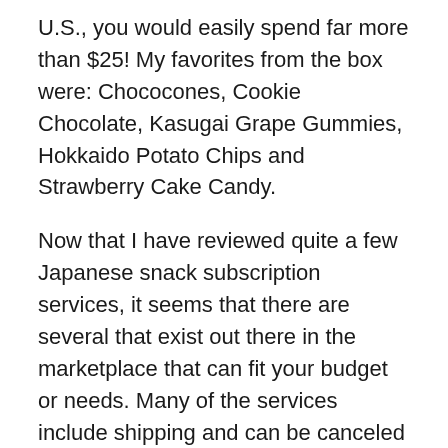U.S., you would easily spend far more than $25! My favorites from the box were: Chococones, Cookie Chocolate, Kasugai Grape Gummies, Hokkaido Potato Chips and Strawberry Cake Candy.
Now that I have reviewed quite a few Japanese snack subscription services, it seems that there are several that exist out there in the marketplace that can fit your budget or needs. Many of the services include shipping and can be canceled at any time. Some even include small toys in the package if that is of interest to you.
As I mentioned earlier, if you want a service where you receive a lot of Japanese snacks then Japan Crate is a good option. Their website is: www.japancrate.com
If you would like to check out my video review, watch it down below! 🙂